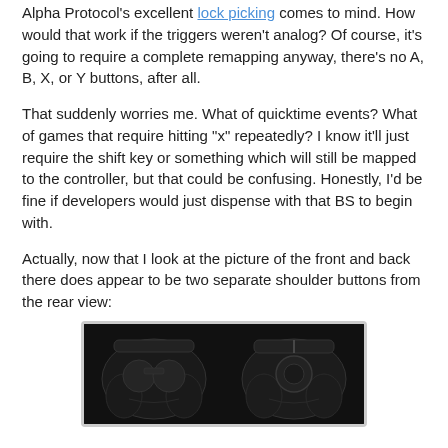Alpha Protocol's excellent lock picking comes to mind.  How would that work if the triggers weren't analog?  Of course, it's going to require a complete remapping anyway, there's no A, B, X, or Y buttons, after all.
That suddenly worries me.  What of quicktime events?  What of games that require hitting "x" repeatedly?  I know it'll just require the shift key or something which will still be mapped to the controller, but that could be confusing.  Honestly, I'd be fine if developers would just dispense with that BS to begin with.
Actually, now that I look at the picture of the front and back there does appear to be two separate shoulder buttons from the rear view:
[Figure (photo): Front and rear view of the Steam controller showing two separate shoulder buttons visible from the rear view. Black background with dark controller silhouettes.]
At least, there's a line separating what could be one button into two.